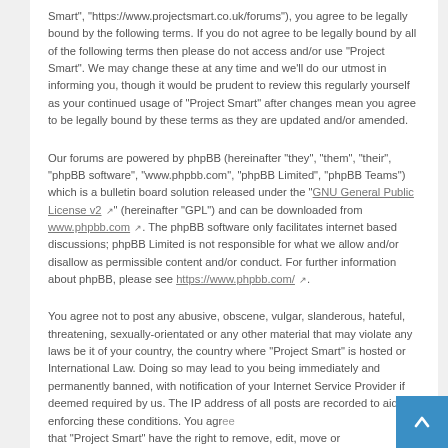Smart", "https://www.projectsmart.co.uk/forums"), you agree to be legally bound by the following terms. If you do not agree to be legally bound by all of the following terms then please do not access and/or use "Project Smart". We may change these at any time and we'll do our utmost in informing you, though it would be prudent to review this regularly yourself as your continued usage of "Project Smart" after changes mean you agree to be legally bound by these terms as they are updated and/or amended.
Our forums are powered by phpBB (hereinafter "they", "them", "their", "phpBB software", "www.phpbb.com", "phpBB Limited", "phpBB Teams") which is a bulletin board solution released under the "GNU General Public License v2" (hereinafter "GPL") and can be downloaded from www.phpbb.com. The phpBB software only facilitates internet based discussions; phpBB Limited is not responsible for what we allow and/or disallow as permissible content and/or conduct. For further information about phpBB, please see https://www.phpbb.com/.
You agree not to post any abusive, obscene, vulgar, slanderous, hateful, threatening, sexually-orientated or any other material that may violate any laws be it of your country, the country where "Project Smart" is hosted or International Law. Doing so may lead to you being immediately and permanently banned, with notification of your Internet Service Provider if deemed required by us. The IP address of all posts are recorded to aid in enforcing these conditions. You agree that "Project Smart" have the right to remove, edit, move or close any topic at any time should we see fit.